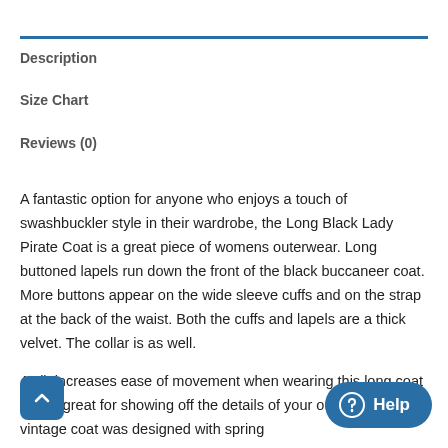Description
Size Chart
Reviews (0)
A fantastic option for anyone who enjoys a touch of swashbuckler style in their wardrobe, the Long Black Lady Pirate Coat is a great piece of womens outerwear. Long buttoned lapels run down the front of the black buccaneer coat. More buttons appear on the wide sleeve cuffs and on the strap at the back of the waist. Both the cuffs and lapels are a thick velvet. The collar is as well.
A slit increases ease of movement when wearing this long coat and is great for showing off the details of your outfit. This vintage coat was designed with spring